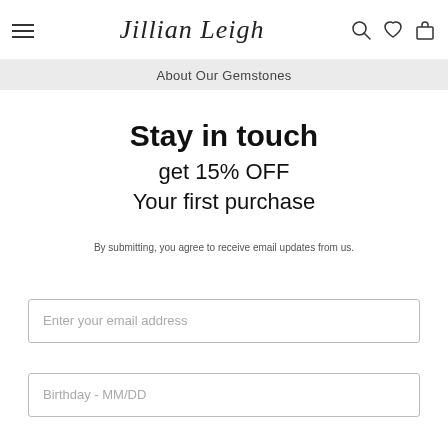Jillian Leigh — navigation header with hamburger menu, logo, search, wishlist, and cart icons
About Our Gemstones
Stay in touch
get 15% OFF
Your first purchase
By submitting, you agree to receive email updates from us.
Enter your email address
Birthday - MM/DD
Subscribe